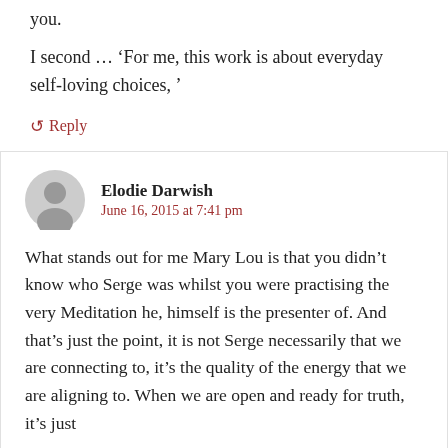you.
I second… 'For me, this work is about everyday self-loving choices, '
↺ Reply
Elodie Darwish
June 16, 2015 at 7:41 pm
What stands out for me Mary Lou is that you didn't know who Serge was whilst you were practising the very Meditation he, himself is the presenter of. And that's just the point, it is not Serge necessarily that we are connecting to, it's the quality of the energy that we are aligning to. When we are open and ready for truth, it's just